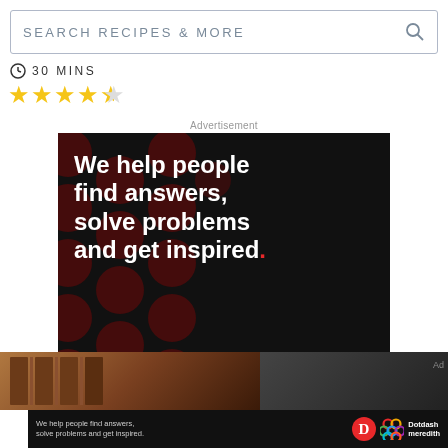SEARCH RECIPES & MORE
30 MINS
[Figure (other): Four and a half yellow star rating]
Advertisement
[Figure (infographic): Dotdash Meredith advertisement banner: dark background with dark red polka dots, white bold text reading 'We help people find answers, solve problems and get inspired.' with a red period, 'LEARN MORE' with red arrow, D logo in red circle, and Dotdash Meredith colorful knot logo]
[Figure (photo): Two partial images at bottom: food/chocolate item on left, dark image on right]
Ad
[Figure (infographic): Bottom banner: 'We help people find answers, solve problems and get inspired.' with D logo and Dotdash meredith logo and text]